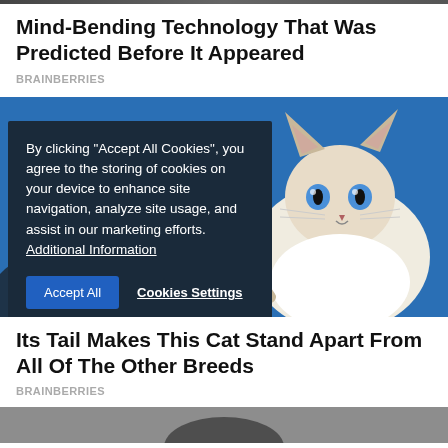[Figure (photo): Top strip of a photo partially visible at the very top of the page (cropped)]
Mind-Bending Technology That Was Predicted Before It Appeared
BRAINBERRIES
[Figure (photo): Photo of a fluffy cat (Birman or similar breed) sitting against a bright blue background, with a cookie consent overlay on the left side. The overlay reads: By clicking "Accept All Cookies", you agree to the storing of cookies on your device to enhance site navigation, analyze site usage, and assist in our marketing efforts. Additional Information. Buttons: Accept All | Cookies Settings]
Its Tail Makes This Cat Stand Apart From All Of The Other Breeds
BRAINBERRIES
[Figure (photo): Bottom strip of another photo partially visible at the bottom of the page (cropped)]